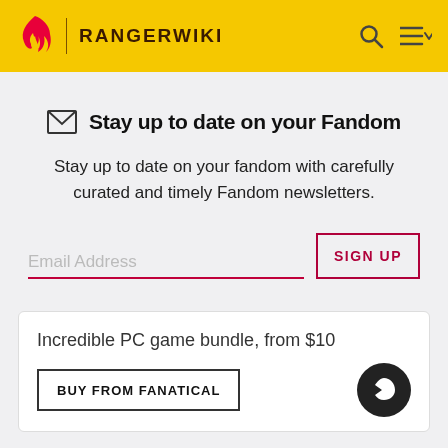RANGERWIKI
Stay up to date on your Fandom
Stay up to date on your fandom with carefully curated and timely Fandom newsletters.
Email Address
SIGN UP
Incredible PC game bundle, from $10
BUY FROM FANATICAL